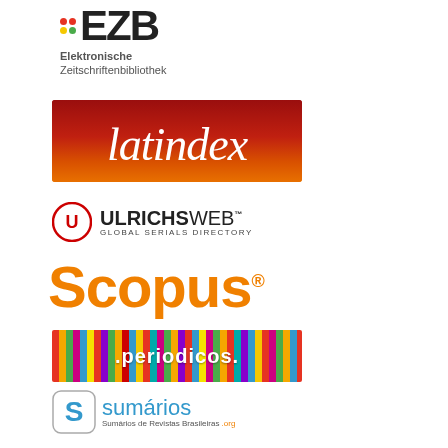[Figure (logo): EZB (Elektronische Zeitschriftenbibliothek) logo with colored dots and text]
[Figure (logo): Latindex logo - red/orange gradient background with italic white text]
[Figure (logo): UlrichsWeb Global Serials Directory logo with circular icon]
[Figure (logo): Scopus logo in orange text with registered trademark symbol]
[Figure (logo): .periodicos. logo with multicolor vertical stripes background]
[Figure (logo): Sumários de Revistas Brasileiras logo with blue S icon]
[Figure (logo): CLASE logo - partial view of red circular logo with text]